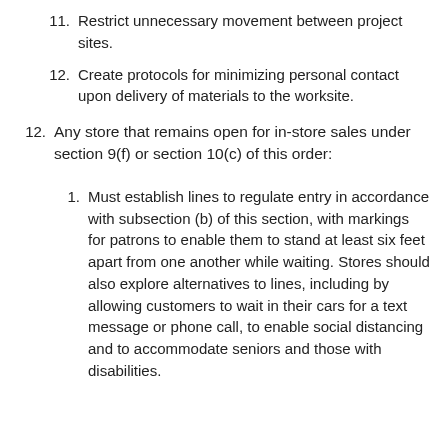11. Restrict unnecessary movement between project sites.
12. Create protocols for minimizing personal contact upon delivery of materials to the worksite.
12. Any store that remains open for in-store sales under section 9(f) or section 10(c) of this order:
1. Must establish lines to regulate entry in accordance with subsection (b) of this section, with markings for patrons to enable them to stand at least six feet apart from one another while waiting. Stores should also explore alternatives to lines, including by allowing customers to wait in their cars for a text message or phone call, to enable social distancing and to accommodate seniors and those with disabilities.